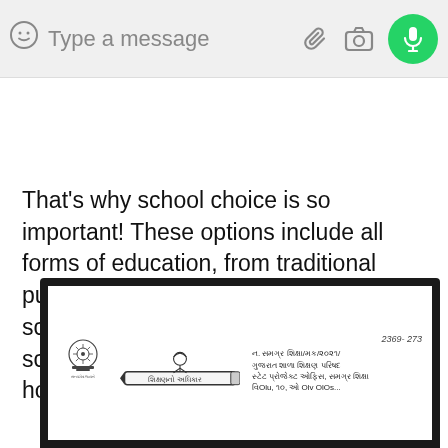[Figure (screenshot): WhatsApp message input bar with emoji icon, 'Type a message' placeholder text, attachment clip icon, camera icon, and green microphone button]
That's why school choice is so important! These options include all forms of education, from traditional public schools, to public charter schools, public magnet schools, private schools, online academies, and homeschooling.
[Figure (screenshot): Bottom portion of a document with dark border, showing the Ashoka Emblem (Indian government seal), an illustration of a child writing on a pencil with Gujarati text 'શિક્ષણનો અધિકાર' (Right to Education), and official text in Gujarati referencing Gujarat Shala Shikshan Parishad, State Project Office, Samagra Shiksha. A handwritten number '2369-273' appears in the top right.]